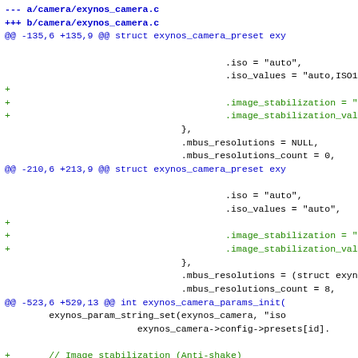--- a/camera/exynos_camera.c
+++ b/camera/exynos_camera.c
@@ -135,6 +135,9 @@ struct exynos_camera_preset exy

                                        .iso = "auto",
                                        .iso_values = "auto,ISO100,
+
+                                       .image_stabilization = "off
+                                       .image_stabilization_values
                                },
                                .mbus_resolutions = NULL,
                                .mbus_resolutions_count = 0,
@@ -210,6 +213,9 @@ struct exynos_camera_preset exy

                                        .iso = "auto",
                                        .iso_values = "auto",
+
+                                       .image_stabilization = "off
+                                       .image_stabilization_values
                                },
                                .mbus_resolutions = (struct exynos_
                                .mbus_resolutions_count = 8,
@@ -523,6 +529,13 @@ int exynos_camera_params_init(
        exynos_param_string_set(exynos_camera, "iso
                        exynos_camera->config->presets[id].

+       // Image stabilization (Anti-shake)
+
+       exynos_param_string_set(exynos_camera, "ima
+       exynos_camera->config->presets[id].params.i
+       exynos_param_string_set(exynos_camera, "ima